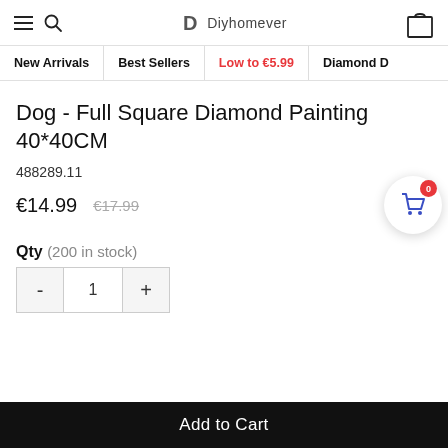Diyhomever
New Arrivals | Best Sellers | Low to €5.99 | Diamond D
Dog - Full Square Diamond Painting 40*40CM
488289.11
€14.99  €17.99
Qty (200 in stock)
- 1 +
Add to Cart